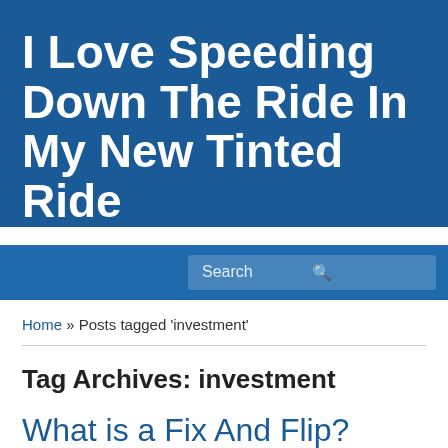I Love Speeding Down The Ride In My New Tinted Ride
Search
Home » Posts tagged 'investment'
Tag Archives: investment
What is a Fix And Flip?